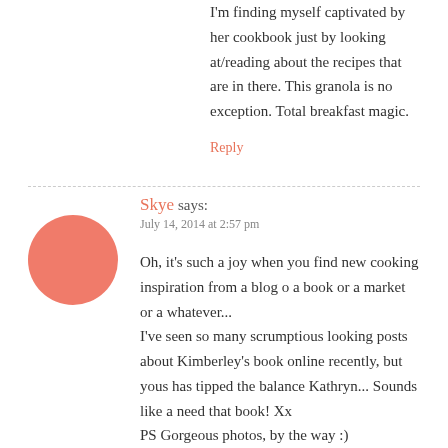I'm finding myself captivated by her cookbook just by looking at/reading about the recipes that are in there. This granola is no exception. Total breakfast magic.
Reply
Skye says:
July 14, 2014 at 2:57 pm
Oh, it's such a joy when you find new cooking inspiration from a blog o a book or a market or a whatever...
I've seen so many scrumptious looking posts about Kimberley's book online recently, but yous has tipped the balance Kathryn... Sounds like a need that book! Xx
PS Gorgeous photos, by the way :)
Reply